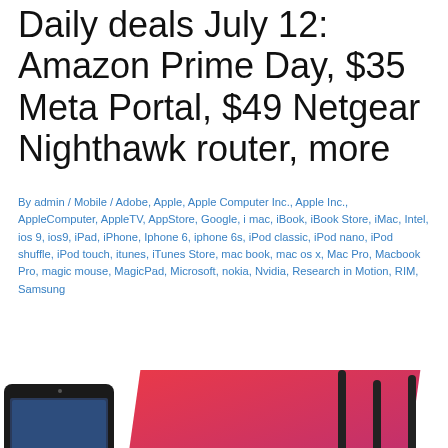Daily deals July 12: Amazon Prime Day, $35 Meta Portal, $49 Netgear Nighthawk router, more
By admin / Mobile / Adobe, Apple, Apple Computer Inc., Apple Inc., AppleComputer, AppleTV, AppStore, Google, i mac, iBook, iBook Store, iMac, Intel, ios 9, ios9, iPad, iPhone, Iphone 6, iphone 6s, iPod classic, iPod nano, iPod shuffle, iPod touch, itunes, iTunes Store, mac book, mac os x, Mac Pro, Macbook Pro, magic mouse, MagicPad, Microsoft, nokia, Nvidia, Research in Motion, RIM, Samsung
[Figure (photo): Product image showing a dark tablet device on the left, earbuds/headphones in the center against a pink/magenta diagonal background, and a router with antennas on the right.]